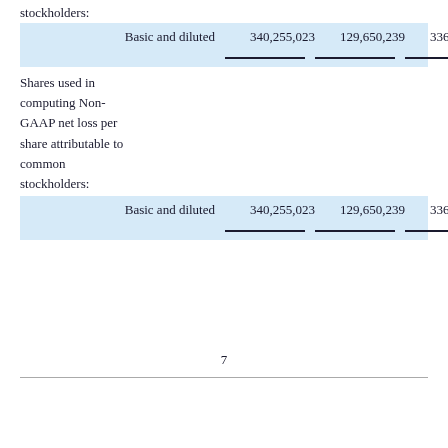stockholders:
|  |  |  |  |  |
| --- | --- | --- | --- | --- |
| Basic and diluted | 340,255,023 | 129,650,239 | 336,641,349 | 128,780,581 |
Shares used in computing Non-GAAP net loss per share attributable to common stockholders:
|  |  |  |  |  |
| --- | --- | --- | --- | --- |
| Basic and diluted | 340,255,023 | 129,650,239 | 336,641,349 | 128,780,581 |
7